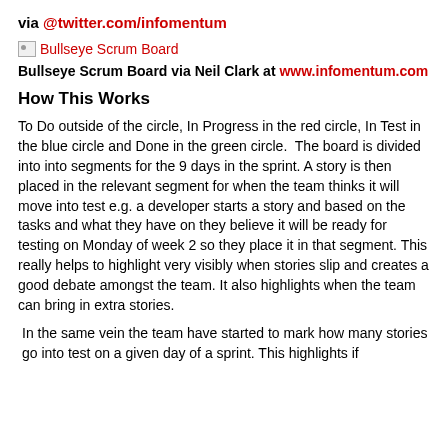via @twitter.com/infomentum
[Figure (illustration): Broken image placeholder with label 'Bullseye Scrum Board' in red]
Bullseye Scrum Board via Neil Clark at www.infomentum.com
How This Works
To Do outside of the circle, In Progress in the red circle, In Test in the blue circle and Done in the green circle.  The board is divided into into segments for the 9 days in the sprint. A story is then placed in the relevant segment for when the team thinks it will move into test e.g. a developer starts a story and based on the tasks and what they have on they believe it will be ready for testing on Monday of week 2 so they place it in that segment. This really helps to highlight very visibly when stories slip and creates a good debate amongst the team. It also highlights when the team can bring in extra stories.
In the same vein the team have started to mark how many stories go into test on a given day of a sprint. This highlights if